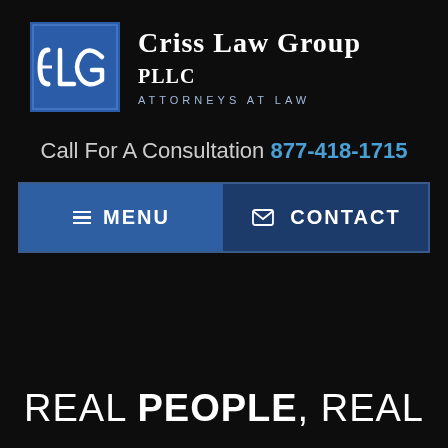[Figure (logo): Criss Law Group PLLC logo — blue square with stylized CLG letters in white, next to firm name 'CRISS LAW GROUP PLLC' and subtitle 'ATTORNEYS AT LAW']
Call For A Consultation 877-418-1715
≡ MENU
✉ CONTACT
REAL PEOPLE, REAL